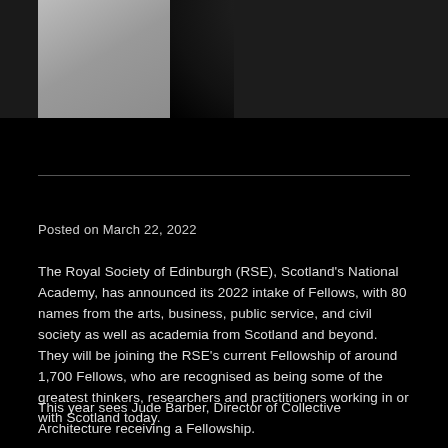[Figure (photo): Partial photograph of a person wearing dark clothing, shown from roughly shoulder level up, against a light/grey background on the left side and dark background on the right.]
Posted on March 22, 2022
The Royal Society of Edinburgh (RSE), Scotland's National Academy, has announced its 2022 intake of Fellows, with 80 names from the arts, business, public service, and civil society as well as academia from Scotland and beyond. They will be joining the RSE's current Fellowship of around 1,700 Fellows, who are recognised as being some of the greatest thinkers, researchers and practitioners working in or with Scotland today.
This year sees Jude Barber, Director of Collective Architecture receiving a Fellowship.